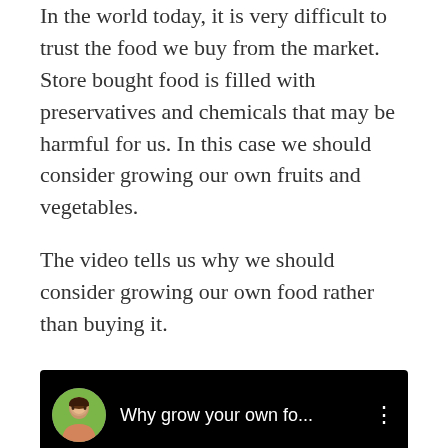In the world today, it is very difficult to trust the food we buy from the market. Store bought food is filled with preservatives and chemicals that may be harmful for us. In this case we should consider growing our own fruits and vegetables.
The video tells us why we should consider growing our own food rather than buying it.
[Figure (screenshot): YouTube video thumbnail showing a woman's avatar and the title 'Why grow your own fo...' with a three-dot menu icon on a black background.]